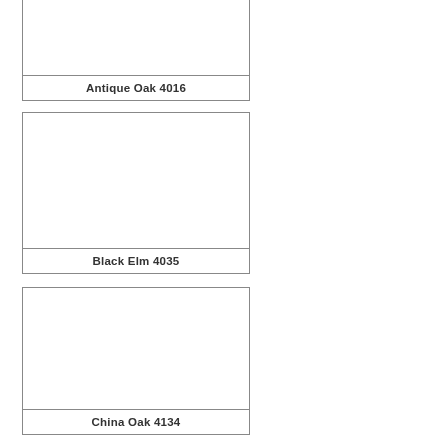[Figure (other): Product swatch card for Antique Oak 4016, showing a bordered rectangle with empty image area and label below]
Antique Oak 4016
[Figure (other): Product swatch card for Black Elm 4035, showing a bordered rectangle with empty image area and label below]
Black Elm 4035
[Figure (other): Product swatch card for China Oak 4134, showing a bordered rectangle with empty image area and label below]
China Oak 4134
[Figure (other): Product swatch card (partial, no label visible), showing only the top portion of a bordered rectangle]